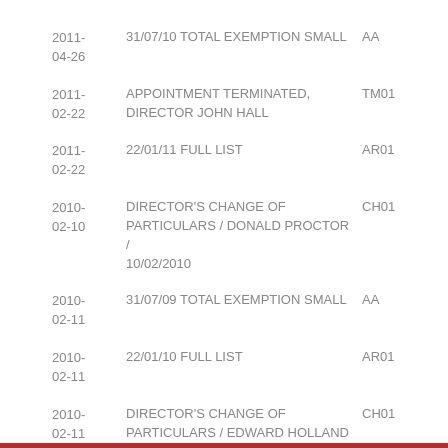2011-04-26 | 31/07/10 TOTAL EXEMPTION SMALL | AA
2011-02-22 | APPOINTMENT TERMINATED, DIRECTOR JOHN HALL | TM01
2011-02-22 | 22/01/11 FULL LIST | AR01
2010-02-10 | DIRECTOR'S CHANGE OF PARTICULARS / DONALD PROCTOR / 10/02/2010 | CH01
2010-02-11 | 31/07/09 TOTAL EXEMPTION SMALL | AA
2010-02-11 | 22/01/10 FULL LIST | AR01
2010-02-11 | DIRECTOR'S CHANGE OF PARTICULARS / EDWARD HOLLAND / 10/02/2010 | CH01